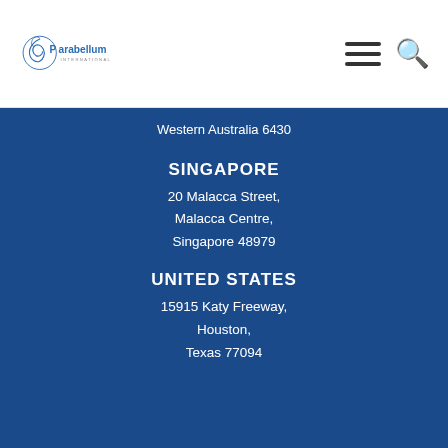Parabellum International
Western Australia 6430
SINGAPORE
20 Malacca Street,
Malacca Centre,
Singapore 48979
UNITED STATES
15915 Katy Freeway,
Houston,
Texas 77094